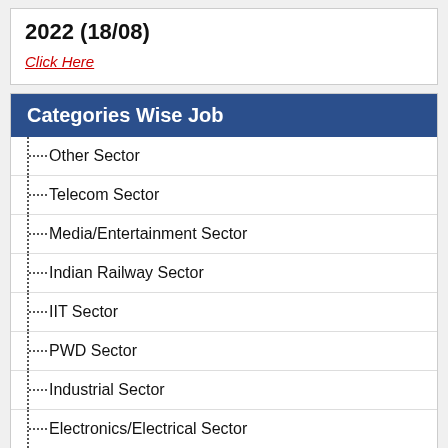2022 (18/08)
Click Here
Categories Wise Job
Other Sector
Telecom Sector
Media/Entertainment Sector
Indian Railway Sector
IIT Sector
PWD Sector
Industrial Sector
Electronics/Electrical Sector
Health/Medical Sector
Defence/Security Sector